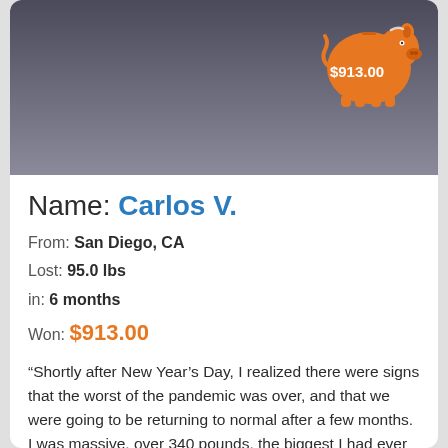[Figure (photo): Before and after photo of Carlos V. showing weight loss transformation]
Name: Carlos V.
From: San Diego, CA
Lost: 95.0 lbs
in: 6 months
Won: $913.00
“Shortly after New Year’s Day, I realized there were signs that the worst of the pandemic was over, and that we were going to be returning to normal after a few months. I was massive, over 340 pounds, the biggest I had ever been. I knew that people would go back to their lives and me, being bigger than ever, would have to endure